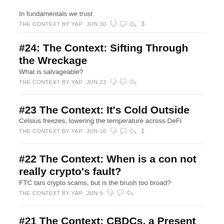In fundamentals we trust
THE CONTEXT BY YAP  JUN 30  ♡3
#24: The Context: Sifting Through the Wreckage
What is salvageable?
THE CONTEXT BY YAP  JUN 23
#23 The Context: It's Cold Outside
Celsius freezes, lowering the temperature across DeFi
THE CONTEXT BY YAP  JUN 16  ♡1
#22 The Context: When is a con not really crypto's fault?
FTC tars crypto scams, but is the brush too broad?
THE CONTEXT BY YAP  JUN 9
#21 The Context: CBDCs, a Present or a Present